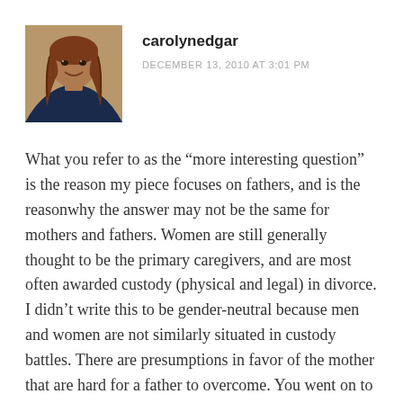[Figure (photo): Profile photo of carolynedgar, a woman with long hair wearing a blue outfit]
carolynedgar
DECEMBER 13, 2010 AT 3:01 PM
What you refer to as the “more interesting question” is the reason my piece focuses on fathers, and is the reasonwhy the answer may not be the same for mothers and fathers. Women are still generally thought to be the primary caregivers, and are most often awarded custody (physical and legal) in divorce. I didn’t write this to be gender-neutral because men and women are not similarly situated in custody battles. There are presumptions in favor of the mother that are hard for a father to overcome. You went on to raise all the issues that prompted me to write this piece: do we make it